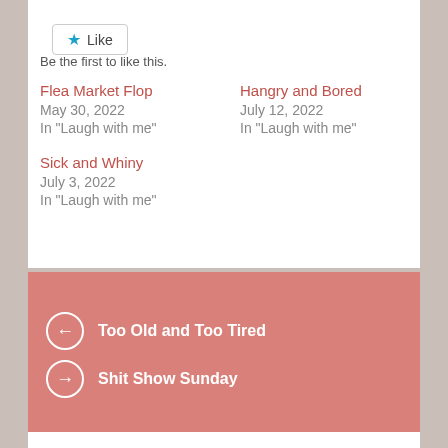[Figure (other): Like button with star icon]
Be the first to like this.
Flea Market Flop
May 30, 2022
In "Laugh with me"
Hangry and Bored
July 12, 2022
In "Laugh with me"
Sick and Whiny
July 3, 2022
In "Laugh with me"
← Too Old and Too Tired
→ Shit Show Sunday